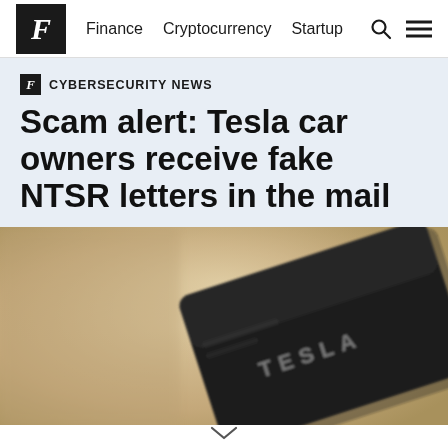F  Finance  Cryptocurrency  Startup
CYBERSECURITY NEWS
Scam alert: Tesla car owners receive fake NTSR letters in the mail
[Figure (photo): Close-up blurred photo of a dark black Tesla branded card or badge against a warm tan/beige background, with the TESLA wordmark visible in silver lettering on the card.]